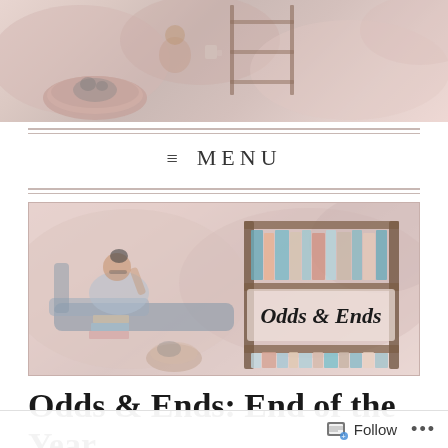[Figure (illustration): Decorative blog header banner with illustrated scene of a person relaxing with books and a cat, in soft pink and mauve watercolor tones]
≡ MENU
[Figure (illustration): Odds & Ends blog banner showing a woman sitting on a chaise lounge reading with a cat, next to a bookshelf illustration. Text reads 'Odds & Ends' in script font.]
Odds & Ends: End of the Year Book Tag 2022:
Follow ...